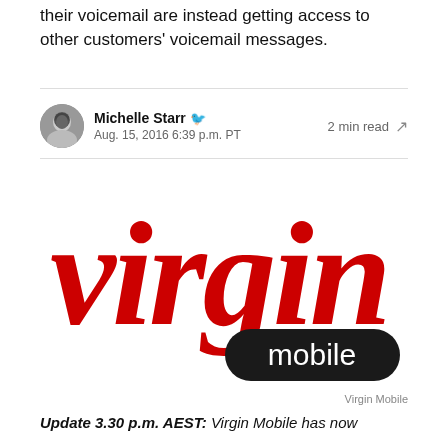their voicemail are instead getting access to other customers' voicemail messages.
Michelle Starr · Aug. 15, 2016 6:39 p.m. PT · 2 min read
[Figure (logo): Virgin Mobile logo — red cursive 'virgin' text above a black rounded rectangle with white 'mobile' text]
Virgin Mobile
Update 3.30 p.m. AEST: Virgin Mobile has now